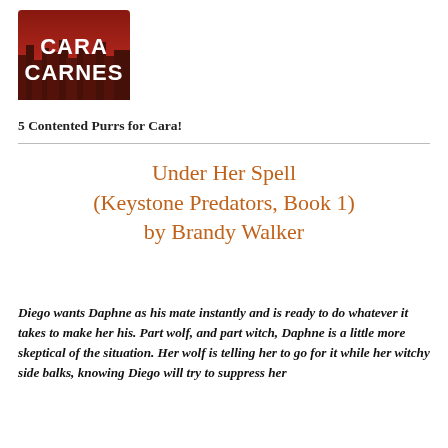[Figure (logo): Cara Carnes author logo: red cityscape background with white bold text CARA CARNES]
5 Contented Purrs for Cara!
Under Her Spell
(Keystone Predators, Book 1)
by Brandy Walker
Diego wants Daphne as his mate instantly and is ready to do whatever it takes to make her his. Part wolf, and part witch, Daphne is a little more skeptical of the situation. Her wolf is telling her to go for it while her witchy side balks, knowing Diego will try to suppress her